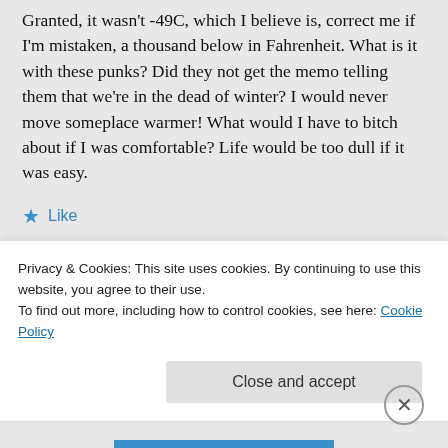Granted, it wasn't -49C, which I believe is, correct me if I'm mistaken, a thousand below in Fahrenheit. What is it with these punks? Did they not get the memo telling them that we're in the dead of winter? I would never move someplace warmer! What would I have to bitch about if I was comfortable? Life would be too dull if it was easy.
★ Like
Privacy & Cookies: This site uses cookies. By continuing to use this website, you agree to their use.
To find out more, including how to control cookies, see here: Cookie Policy
Close and accept